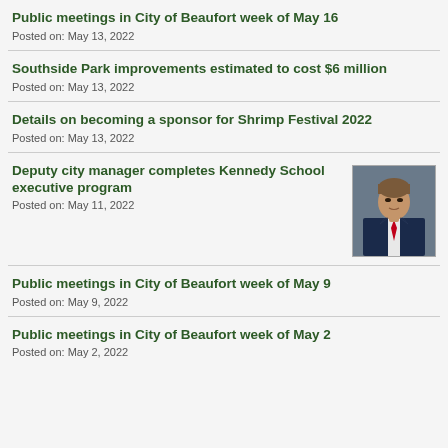Public meetings in City of Beaufort week of May 16
Posted on: May 13, 2022
Southside Park improvements estimated to cost $6 million
Posted on: May 13, 2022
Details on becoming a sponsor for Shrimp Festival 2022
Posted on: May 13, 2022
Deputy city manager completes Kennedy School executive program
Posted on: May 11, 2022
[Figure (photo): Portrait photo of a man in a dark navy suit with a red tie, appearing to be a city official]
Public meetings in City of Beaufort week of May 9
Posted on: May 9, 2022
Public meetings in City of Beaufort week of May 2
Posted on: May 2, 2022